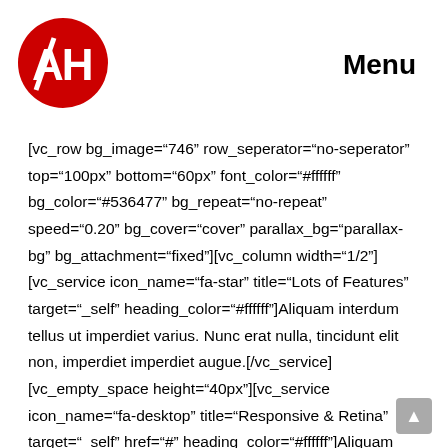[Figure (logo): Circular red logo with white AH letters and a slash design]
Menu
[vc_row bg_image="746" row_seperator="no-seperator" top="100px" bottom="60px" font_color="#ffffff" bg_color="#536477" bg_repeat="no-repeat" speed="0.20" bg_cover="cover" parallax_bg="parallax-bg" bg_attachment="fixed"][vc_column width="1/2"][vc_service icon_name="fa-star" title="Lots of Features" target="_self" heading_color="#ffffff"]Aliquam interdum tellus ut imperdiet varius. Nunc erat nulla, tincidunt elit non, imperdiet imperdiet augue.[/vc_service][vc_empty_space height="40px"][vc_service icon_name="fa-desktop" title="Responsive & Retina" target="_self" href="#" heading_color="#ffffff"]Aliquam interdum tellus ut imperdiet varius. Nunc erat nulla, tincidunt elit non,